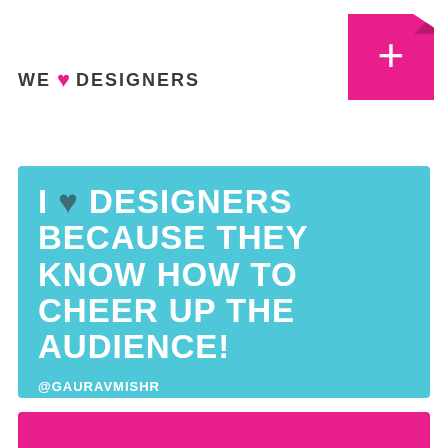WE ♥ DESIGNERS
[Figure (infographic): Cyan card with bold white text: I ♥ DESIGNERS BECAUSE THEY KNOW HOW TO CHEER UP THE AUDIENCE! attributed to @GAURAVMISHR]
[Figure (infographic): Partial pink card visible at bottom of page]